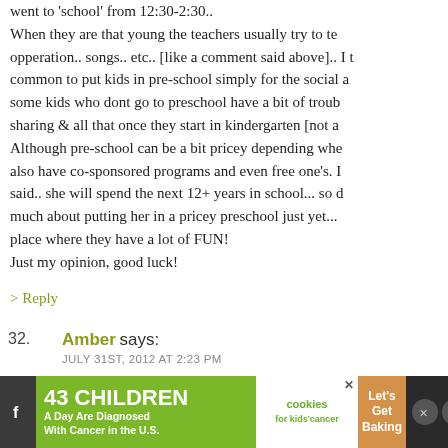went to 'school' from 12:30-2:30.. When they are that young the teachers usually try to te opperation.. songs.. etc.. [like a comment said above].. I t common to put kids in pre-school simply for the social a some kids who dont go to preschool have a bit of troub sharing & all that once they start in kindergarten [not a Although pre-school can be a bit pricey depending whe also have co-sponsored programs and even free one's. I said.. she will spend the next 12+ years in school... so d much about putting her in a pricey preschool just yet... place where they have a lot of FUN! Just my opinion, good luck!
> Reply
32. Amber says: JULY 31ST, 2012 AT 2:23 PM
I am an only child who started preschool at 4. I honestly friend until I was 7 years old, and that's fine with me. I'm
[Figure (other): Advertisement banner: 43 CHILDREN A Day Are Diagnosed With Cancer in the U.S. | cookies for kids cancer | Let's Get Baking]